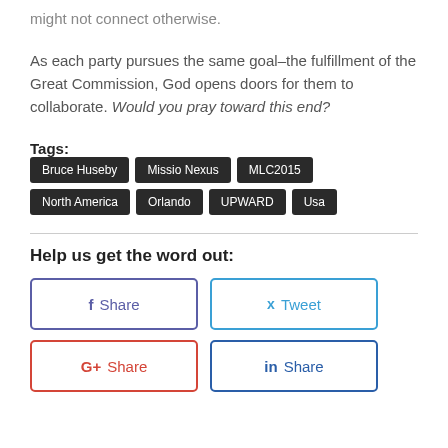might not connect otherwise.
As each party pursues the same goal–the fulfillment of the Great Commission, God opens doors for them to collaborate. Would you pray toward this end?
Tags: Bruce Huseby  Missio Nexus  MLC2015  North America  Orlando  UPWARD  Usa
Help us get the word out:
Share  Tweet  G+ Share  in Share